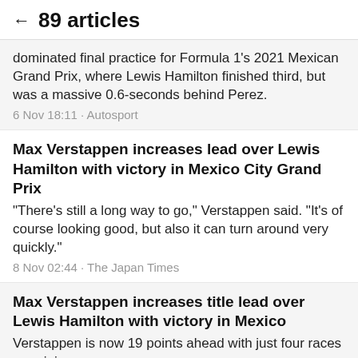← 89 articles
dominated final practice for Formula 1's 2021 Mexican Grand Prix, where Lewis Hamilton finished third, but was a massive 0.6-seconds behind Perez.
6 Nov 18:11 · Autosport
Max Verstappen increases lead over Lewis Hamilton with victory in Mexico City Grand Prix
"There's still a long way to go," Verstappen said. "It's of course looking good, but also it can turn around very quickly."
8 Nov 02:44 · The Japan Times
Max Verstappen increases title lead over Lewis Hamilton with victory in Mexico
Verstappen is now 19 points ahead with just four races remaining.
7 Nov 21:00 · Shropshire Star
Lewis Hamilton clinging onto title hopes